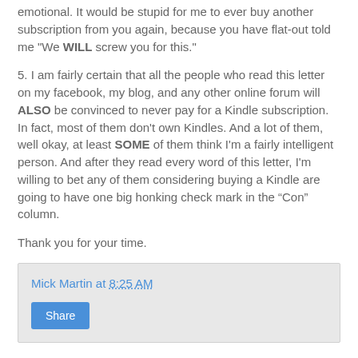emotional. It would be stupid for me to ever buy another subscription from you again, because you have flat-out told me "We WILL screw you for this."
5. I am fairly certain that all the people who read this letter on my facebook, my blog, and any other online forum will ALSO be convinced to never pay for a Kindle subscription. In fact, most of them don't own Kindles. And a lot of them, well okay, at least SOME of them think I'm a fairly intelligent person. And after they read every word of this letter, I'm willing to bet any of them considering buying a Kindle are going to have one big honking check mark in the “Con” column.
Thank you for your time.
Mick Martin at 8:25 AM
Share
1 comment: